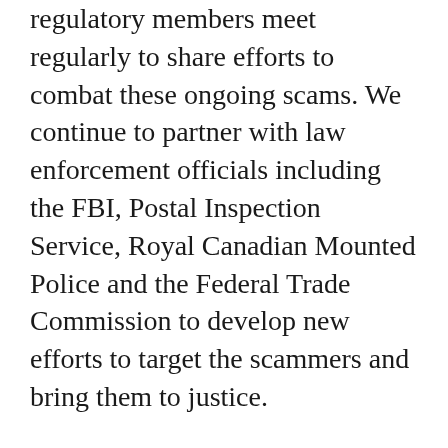regulatory members meet regularly to share efforts to combat these ongoing scams. We continue to partner with law enforcement officials including the FBI, Postal Inspection Service, Royal Canadian Mounted Police and the Federal Trade Commission to develop new efforts to target the scammers and bring them to justice.
Be smart. Be safe. Be protected. If you or someone you know believes they have been the victim of a fraudulent contact using the name of Publishers Clearing House, please report it immediately using our Scam Incident Report.
And for more information on National